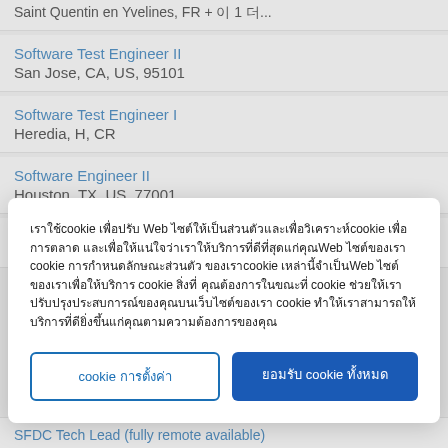Saint Quentin en Yvelines, FR + 이 1 더...
Software Test Engineer II — San Jose, CA, US, 95101
Software Test Engineer I — Heredia, H, CR
Software Engineer II — Houston, TX, US, 77001
[Figure (screenshot): Cookie consent modal dialog overlay with Thai-language cookie policy text and two buttons: 'cookie การตั้งค่า' (manage cookie settings) and 'ยอมรับ cookie ทั้งหมด' (accept all cookies)]
SFDC Tech Lead (fully remote available)